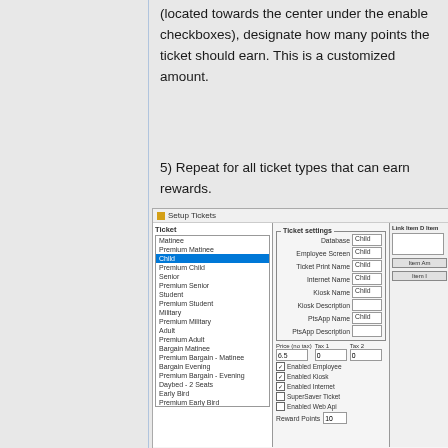(located towards the center under the enable checkboxes), designate how many points the ticket should earn. This is a customized amount.
5) Repeat for all ticket types that can earn rewards.
[Figure (screenshot): Setup Tickets dialog window showing a list of ticket types (Matinee, Premium Matinee, Child selected, Premium Child, Senior, etc.) on the left and Ticket settings panel on the right with fields for Database, Employee Screen, Ticket Print Name, Internet Name, Kiosk Name, Kiosk Description, PtsApp Name, PtsApp Description, price fields, checkboxes for Enabled Employee, Enabled Kiosk, Enabled Internet, SuperSaver Ticket, Enabled Web Api, and Reward Points field showing value 10.]